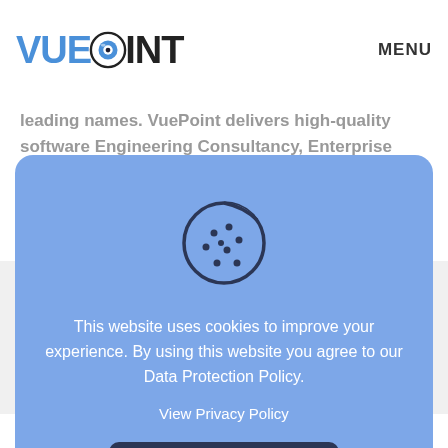[Figure (logo): VuePoint logo with blue eye/circle replacing the O in POINT, and MENU text top right]
leading names. VuePoint delivers high-quality software Engineering Consultancy, Enterprise Software Solutions, Bespoke Software Services and Dedicated Support. VuePoint's services include Market VuePoint, the market the dynamics lifetime...
[Figure (illustration): Cookie consent modal with cookie icon, message about website cookies, View Privacy Policy link, and Accept All button]
Related posts